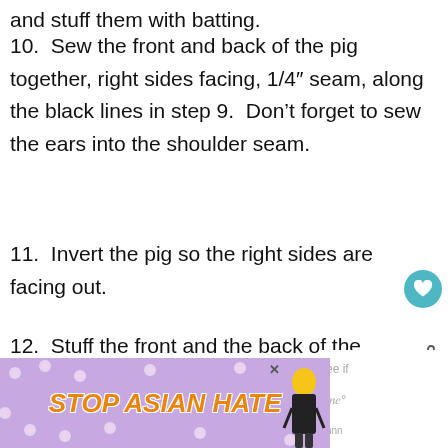and stuff them with batting.
10.  Sew the front and back of the pig together, right sides facing, 1/4″ seam, along the black lines in step 9.  Don’t forget to sew the ears into the shoulder seam.
11.  Invert the pig so the right sides are facing out.
12.  Stuff the front and the back of the pig with pillow stuffing.  I really with the fullness and amount of